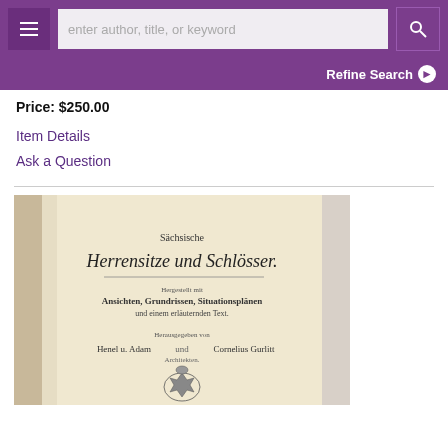enter author, title, or keyword
Refine Search
Price: $250.00
Item Details
Ask a Question
[Figure (photo): Open book showing title page: 'Sächsische Herrensitze und Schlösser.' with subtitle 'Ansichten, Grundrissen, Situationsplänen und einem erläuternden Text.' and author credits 'Henel u. Adam' and 'Cornelius Gurlitt', with a royal crest at the bottom.]